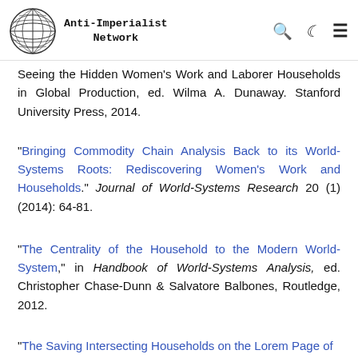Anti-Imperialist Network
Seeing the Hidden Women's Work and Laborer Households in Global Production, ed. Wilma A. Dunaway. Stanford University Press, 2014.
"Bringing Commodity Chain Analysis Back to its World-Systems Roots: Rediscovering Women's Work and Households." Journal of World-Systems Research 20 (1) (2014): 64-81.
"The Centrality of the Household to the Modern World-System," in Handbook of World-Systems Analysis, ed. Christopher Chase-Dunn & Salvatore Balbones, Routledge, 2012.
"The Saving Intersections Households on the Lorem Page of...